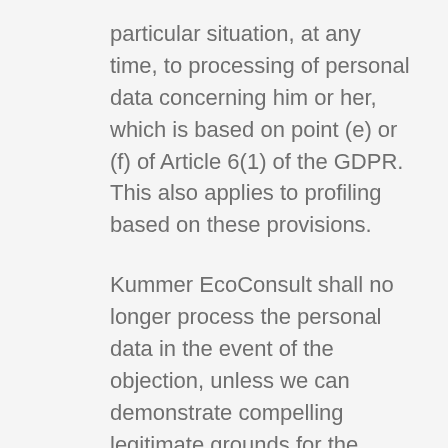particular situation, at any time, to processing of personal data concerning him or her, which is based on point (e) or (f) of Article 6(1) of the GDPR. This also applies to profiling based on these provisions.
Kummer EcoConsult shall no longer process the personal data in the event of the objection, unless we can demonstrate compelling legitimate grounds for the processing which override the interests, rights and freedoms of the data subject, or for the establishment, exercise or defence of legal claims.